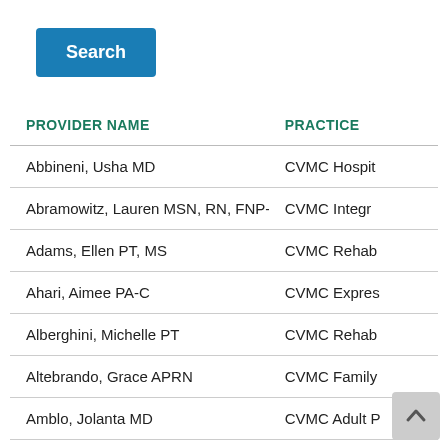[Figure (other): Blue 'Search' button]
| PROVIDER NAME | PRACTICE |
| --- | --- |
| Abbineni, Usha MD | CVMC Hospit |
| Abramowitz, Lauren MSN, RN, FNP-BC | CVMC Integr |
| Adams, Ellen PT, MS | CVMC Rehab |
| Ahari, Aimee PA-C | CVMC Expres |
| Alberghini, Michelle PT | CVMC Rehab |
| Altebrando, Grace APRN | CVMC Family |
| Amblo, Jolanta MD | CVMC Adult P |
| Amey, Katherine PMHNP | CVMC Family |